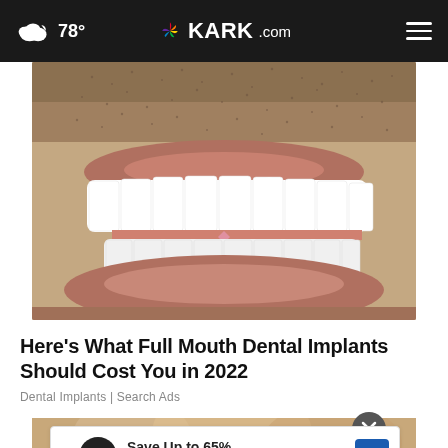78° KARK.com
[Figure (photo): Close-up photo of a man's smile showing white dental implants/teeth against stubbled facial skin]
Here's What Full Mouth Dental Implants Should Cost You in 2022
Dental Implants | Search Ads
[Figure (photo): Partial photo of a person's face visible behind an advertisement overlay]
Save Up to 65%
Leesburg Premium Outlets